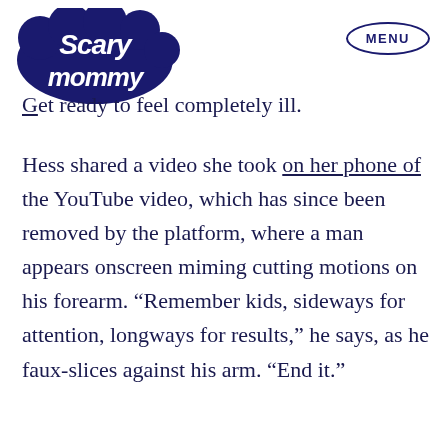Scary Mommy | MENU
Get ready to feel completely ill.
Hess shared a video she took on her phone of the YouTube video, which has since been removed by the platform, where a man appears onscreen miming cutting motions on his forearm. “Remember kids, sideways for attention, longways for results,” he says, as he faux-slices against his arm. “End it.”